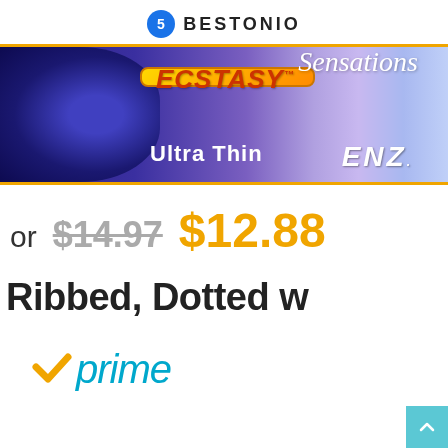BESTONIO
[Figure (photo): Product banner for ENZ Ecstasy Sensations Ultra Thin condoms, showing a Trojan-style helmet on dark blue background, ecstasy gold badge, sensations text, and ENZ branding]
or $14.97 $12.88
Ribbed, Dotted w
[Figure (logo): Amazon Prime logo with orange checkmark and 'prime' in teal italic text]